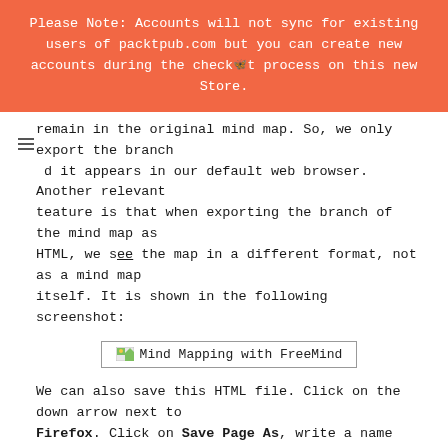Please Note: Accounts will not sync for existing users of packtpub.com but you can create new accounts during the checkout process on this new Store.
remain in the original mind map. So, we only export the branch and it appears in our default web browser. Another relevant feature is that when exporting the branch of the mind map as HTML, we see the map in a different format, not as a mind map itself. It is shown in the following screenshot:
[Figure (screenshot): Screenshot placeholder showing 'Mind Mapping with FreeMind' label with small image icon]
We can also save this HTML file. Click on the down arrow next to Firefox. Click on Save Page As, write a name for the file, and click on Save. The file is saved as shown in the preceding screenshot, on your computer.
Exporting the mind map to bitmaps or vector graphics